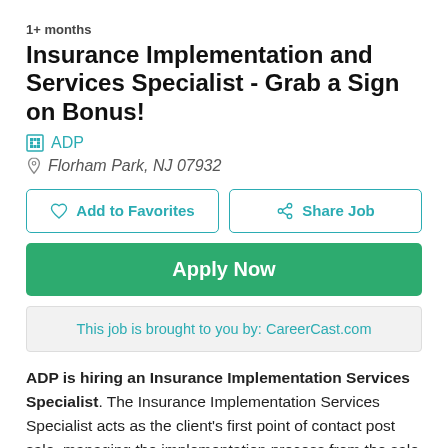1+ months
Insurance Implementation and Services Specialist - Grab a Sign on Bonus!
ADP
Florham Park, NJ 07932
Add to Favorites
Share Job
Apply Now
This job is brought to you by: CareerCast.com
ADP is hiring an Insurance Implementation Services Specialist. The Insurance Implementation Services Specialist acts as the client's first point of contact post sale, managing the implementation process from the sale through the transition to Client Service. Ensures the establishment of a positive relationship with the client. Performs a thorough review of the policy and client's information and sets client expectations to ensure the successful transition of clients to the Client Service team.